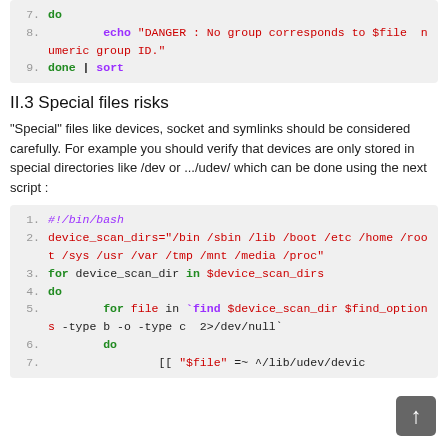[Figure (screenshot): Code block showing shell script lines 7-9: do, echo DANGER message, done | sort]
II.3 Special files risks
"Special" files like devices, socket and symlinks should be considered carefully. For example you should verify that devices are only stored in special directories like /dev or .../udev/ which can be done using the next script :
[Figure (screenshot): Code block showing bash script lines 1-7 for device_scan_dirs scanning]